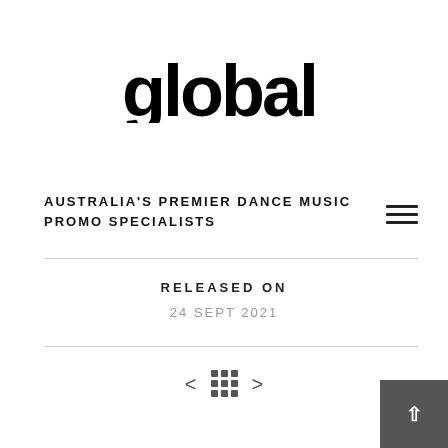[Figure (logo): Global logo in bold black stylized text]
AUSTRALIA'S PREMIER DANCE MUSIC PROMO SPECIALISTS
RELEASED ON
24 SEPT 2021